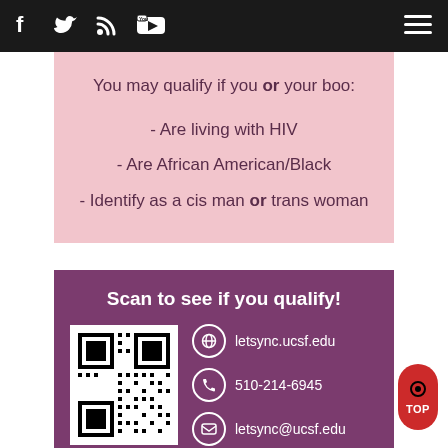Navigation bar with social icons (Facebook, Twitter, RSS, YouTube) and hamburger menu
You may qualify if you or your boo:
- Are living with HIV
- Are African American/Black
- Identify as a cis man or trans woman
Scan to see if you qualify!
[Figure (other): QR code for letsync.ucsf.edu]
letsync.ucsf.edu
510-214-6945
letsync@ucsf.edu